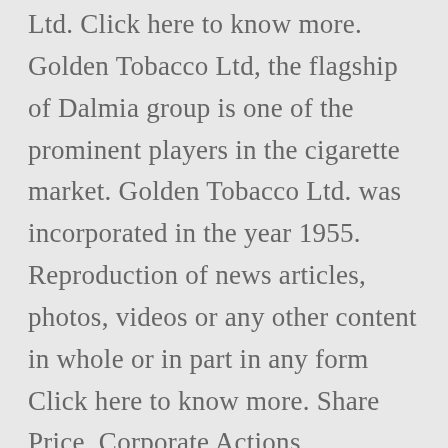Ltd. Click here to know more. Golden Tobacco Ltd, the flagship of Dalmia group is one of the prominent players in the cigarette market. Golden Tobacco Ltd. was incorporated in the year 1955. Reproduction of news articles, photos, videos or any other content in whole or in part in any form Click here to know more. Share Price, Corporate Actions, Valuation, Research Report, Financials and more - complete track record of Golden Tobacco Ltd.. From India's independent mutual fund research house Browse Golden Tobacco stock discussion, ideas, questions and answers online at Moneycontrol.com. Golden Leaf Tobacco Limited is a professional cigarettes machinery manufacturer &